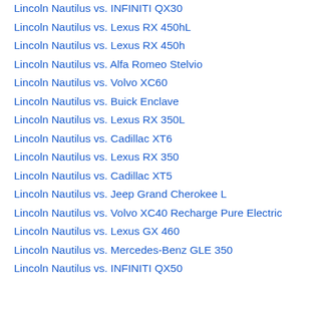Lincoln Nautilus vs. INFINITI QX30
Lincoln Nautilus vs. Lexus RX 450hL
Lincoln Nautilus vs. Lexus RX 450h
Lincoln Nautilus vs. Alfa Romeo Stelvio
Lincoln Nautilus vs. Volvo XC60
Lincoln Nautilus vs. Buick Enclave
Lincoln Nautilus vs. Lexus RX 350L
Lincoln Nautilus vs. Cadillac XT6
Lincoln Nautilus vs. Lexus RX 350
Lincoln Nautilus vs. Cadillac XT5
Lincoln Nautilus vs. Jeep Grand Cherokee L
Lincoln Nautilus vs. Volvo XC40 Recharge Pure Electric
Lincoln Nautilus vs. Lexus GX 460
Lincoln Nautilus vs. Mercedes-Benz GLE 350
Lincoln Nautilus vs. INFINITI QX50